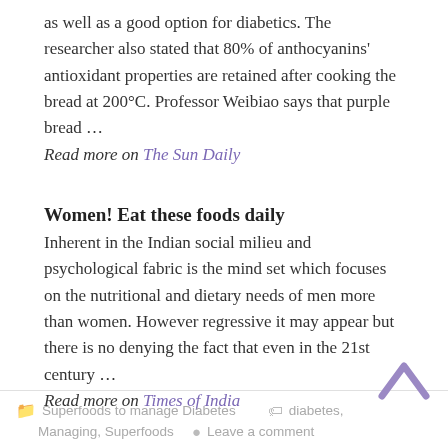as well as a good option for diabetics. The researcher also stated that 80% of anthocyanins' antioxidant properties are retained after cooking the bread at 200°C. Professor Weibiao says that purple bread …
Read more on The Sun Daily
Women! Eat these foods daily
Inherent in the Indian social milieu and psychological fabric is the mind set which focuses on the nutritional and dietary needs of men more than women. However regressive it may appear but there is no denying the fact that even in the 21st century …
Read more on Times of India
Superfoods to manage Diabetes   diabetes, Managing, Superfoods   Leave a comment